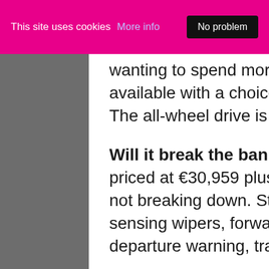This site uses cookies More info No problem
wanting to spend more time on the road than off,  it is available with a choice of front-wheel or four-wheel drive. The all-wheel drive is an option for an extra €3,000.
Will it break the bank? The X-Trail is competitively priced at €30,959 plus Nissan have a good reputation for not breaking down. Standard equipment includes rain-sensing wipers, forward emergency braking, lane departure warning, traffic sign recognition and rear